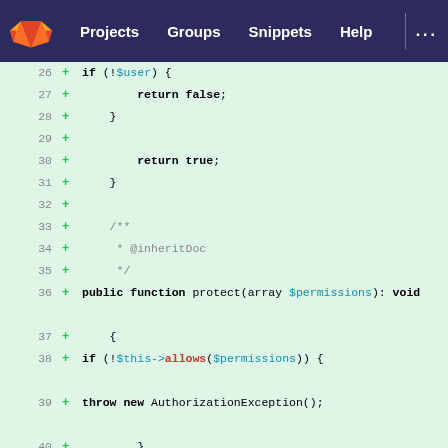GitLab navigation bar with Projects, Groups, Snippets, Help
[Figure (screenshot): GitLab diff view showing PHP code lines 26-42, all added lines (green), showing an if(!$user) check returning false, return true, a PHPDoc block with @inheritDoc, a public function protect(array $permissions): void, with an if(!$this->allows($permissions)) throwing AuthorizationException, closing braces.]